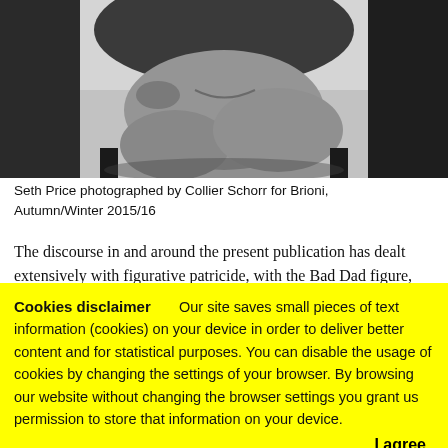[Figure (photo): Black and white photograph of Seth Price seated, legs crossed, wearing gray trousers and dark jacket, photographed by Collier Schorr for Brioni, Autumn/Winter 2015/16]
Seth Price photographed by Collier Schorr for Brioni, Autumn/Winter 2015/16
The discourse in and around the present publication has dealt extensively with figurative patricide, with the Bad Dad figure,
Cookies disclaimer   Our site saves small pieces of text information (cookies) on your device in order to deliver better content and for statistical purposes. You can disable the usage of cookies by changing the settings of your browser. By browsing our website without changing the browser settings you grant us permission to store that information on your device.
I agree